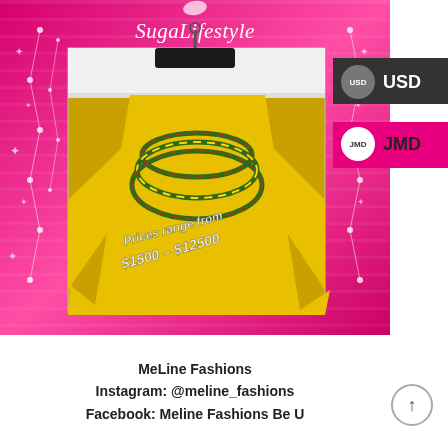[Figure (photo): Product listing screenshot from SugaLifestyle platform showing a yellow flowing top/poncho with green multi-strand necklace on a pink sparkly background. Price overlay reads 'Prices range from $1500 – $12500'. USD and JMD currency options shown on right side.]
MeLine Fashions
Instagram: @meline_fashions
Facebook: Meline Fashions Be U